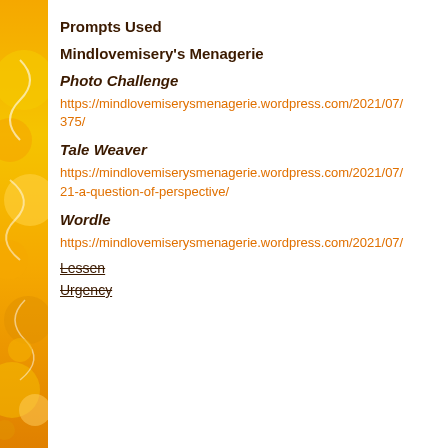Prompts Used
Mindlovemisery's Menagerie
Photo Challenge
https://mindlovemiserysmenagerie.wordpress.com/2021/07/375/
Tale Weaver
https://mindlovemiserysmenagerie.wordpress.com/2021/07/21-a-question-of-perspective/
Wordle
https://mindlovemiserysmenagerie.wordpress.com/2021/07/
Lessen
Urgency